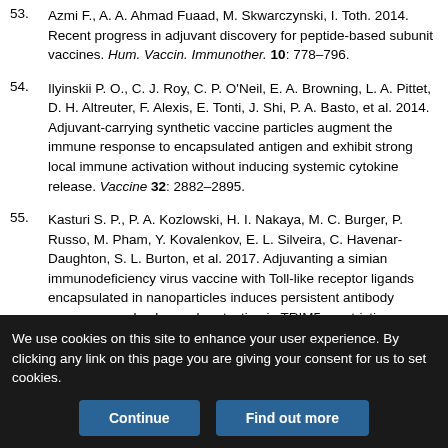53. Azmi F., A. A. Ahmad Fuaad, M. Skwarczynski, I. Toth. 2014. Recent progress in adjuvant discovery for peptide-based subunit vaccines. Hum. Vaccin. Immunother. 10: 778–796.
54. Ilyinskii P. O., C. J. Roy, C. P. O'Neil, E. A. Browning, L. A. Pittet, D. H. Altreuter, F. Alexis, E. Tonti, J. Shi, P. A. Basto, et al. 2014. Adjuvant-carrying synthetic vaccine particles augment the immune response to encapsulated antigen and exhibit strong local immune activation without inducing systemic cytokine release. Vaccine 32: 2882–2895.
55. Kasturi S. P., P. A. Kozlowski, H. I. Nakaya, M. C. Burger, P. Russo, M. Pham, Y. Kovalenkov, E. L. Silveira, C. Havenar-Daughton, S. L. Burton, et al. 2017. Adjuvanting a simian immunodeficiency virus vaccine with Toll-like receptor ligands encapsulated in nanoparticles induces persistent antibody responses and enhanced protection in TRIM5α restrictive Macaques. J. Virol. 91: e01844-16.
We use cookies on this site to enhance your user experience. By clicking any link on this page you are giving your consent for us to set cookies.